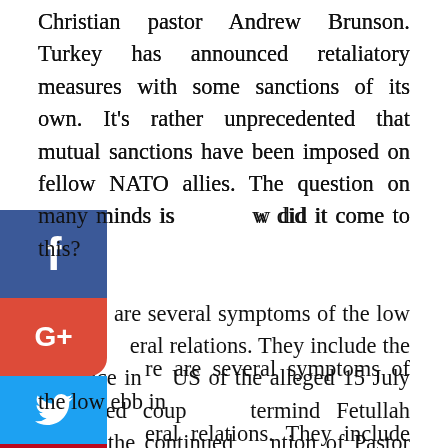Christian pastor Andrew Brunson. Turkey has announced retaliatory measures with some sanctions of its own. It's rather unprecedented that mutual sanctions have been imposed on fellow NATO allies. The question on many minds is how did it come to this? There are several symptoms of the low ebb in bilateral relations. They include the presence in the US of the alleged 15 July attempted coup mastermind Fetullah Gulen, the continued detention of Pastor Brunson and other US nationals and consular workers, Turkey's intention to purchase the Russian S400 SAMs which are incompatible with NATO hardware, and US assistance to the YPG Kurdish militia in Syria against the so-called Islamic State which Turkey